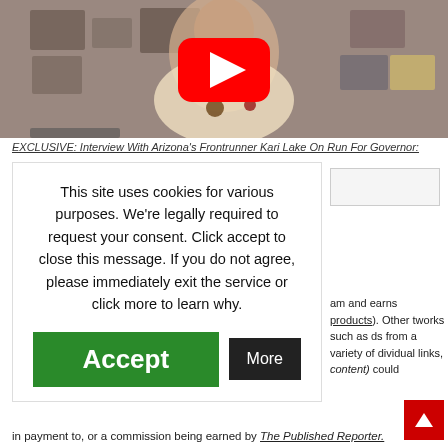[Figure (screenshot): YouTube video thumbnail showing a woman in a floral dress standing in front of a wall of framed pictures, with a large red YouTube play button overlaid in the center.]
EXCLUSIVE: Interview With Arizona's Frontrunner Kari Lake On Run For Governor:
This site uses cookies for various purposes. We're legally required to request your consent. Click accept to close this message. If you do not agree, please immediately exit the service or click more to learn why.
Accept
More
am and earns products). Other tworks such as ds from a variety of dividual links, content) could
in payment to, or a commission being earned by The Published Reporter.